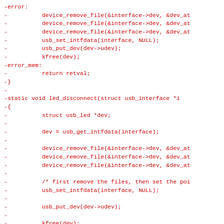-error:
-          device_remove_file(&interface->dev, &dev_at
-          device_remove_file(&interface->dev, &dev_at
-          device_remove_file(&interface->dev, &dev_at
-          usb_set_intfdata(interface, NULL);
-          usb_put_dev(dev->udev);
-          kfree(dev);
-error_mem:
-          return retval;
-}
-
-static void led_disconnect(struct usb_interface *i
-{
-          struct usb_led *dev;
-
-          dev = usb_get_intfdata(interface);
-
-          device_remove_file(&interface->dev, &dev_at
-          device_remove_file(&interface->dev, &dev_at
-          device_remove_file(&interface->dev, &dev_at
-
-          /* first remove the files, then set the poi
-          usb_set_intfdata(interface, NULL);
-
-          usb_put_dev(dev->udev);
-
-          kfree(dev);
-
-          dev_info(&interface->dev, "USB LED now disc
-}